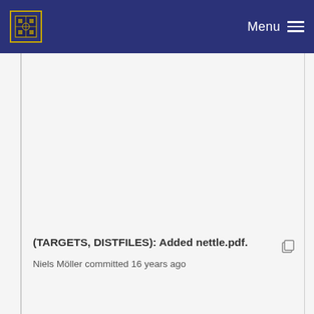Menu
(TARGETS, DISTFILES): Added nettle.pdf.
Niels Möller committed 16 years ago